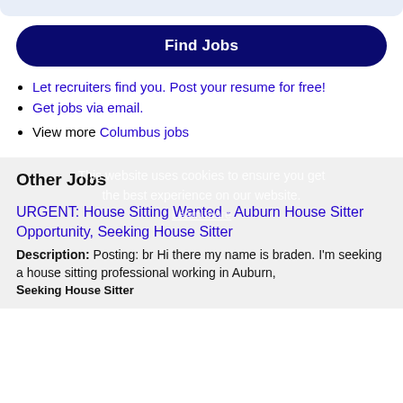Find Jobs
Let recruiters find you. Post your resume for free!
Get jobs via email.
View more Columbus jobs
Other Jobs
This website uses cookies to ensure you get the best experience on our website. Learn more
URGENT: House Sitting Wanted - Auburn House Sitter Opportunity, Seeking House Sitter
Description: Posting: br Hi there my name is braden. I'm seeking a house sitting professional working in Auburn,